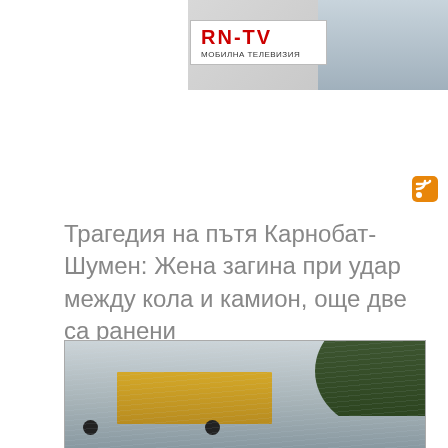[Figure (photo): RN-TV mobile television advertisement banner showing logo and people watching TV]
[Figure (illustration): RSS feed icon (orange square with white radio waves symbol)]
Трагедия на пътя Карнобат-Шумен: Жена загина при удар между кола и камион, още две са ранени
[Figure (photo): Photo of a truck on a wet road in rainy conditions, with trees visible on the right side. Scene of accident on the Karnobat-Shumen road.]